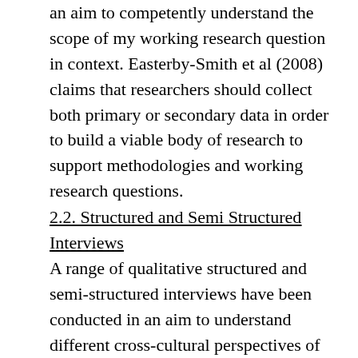an aim to competently understand the scope of my working research question in context. Easterby-Smith et al (2008) claims that researchers should collect both primary or secondary data in order to build a viable body of research to support methodologies and working research questions.
2.2. Structured and Semi Structured Interviews
A range of qualitative structured and semi-structured interviews have been conducted in an aim to understand different cross-cultural perspectives of how the beauty and fashion industries may affect ones self-perception, whilst further exploring surrounding issues